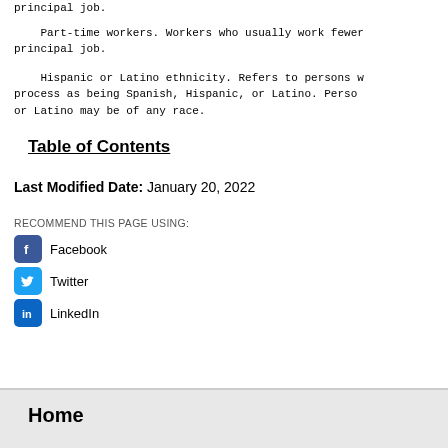principal job.
Part-time workers. Workers who usually work fewer than 35 hours per week in their principal job.
Hispanic or Latino ethnicity. Refers to persons who identified themselves in the census process as being Spanish, Hispanic, or Latino. Persons who are Hispanic or Latino may be of any race.
Table of Contents
Last Modified Date: January 20, 2022
RECOMMEND THIS PAGE USING:
Facebook
Twitter
LinkedIn
Home